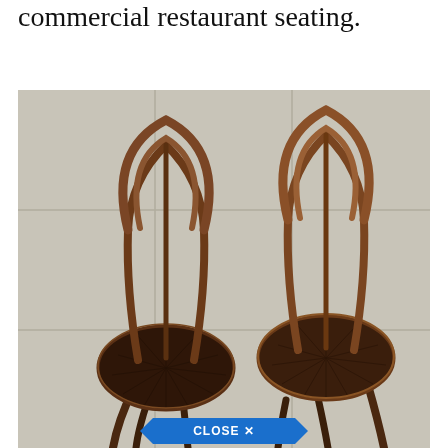commercial restaurant seating.
[Figure (photo): Two antique bentwood chairs with round wooden seats featuring a sunburst pattern, photographed from above on a concrete floor. Two chairs side by side. A 'CLOSE X' button overlay appears at the bottom center of the image.]